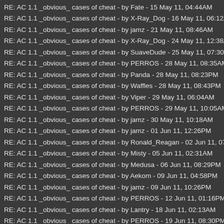RE: AC 1.1 _obvious_ cases of cheat - by Fate - 15 May 11, 04:44AM
RE: AC 1.1 _obvious_ cases of cheat - by X-Ray_Dog - 16 May 11, 06:12AM
RE: AC 1.1 _obvious_ cases of cheat - by jamz - 21 May 11, 08:46AM
RE: AC 1.1 _obvious_ cases of cheat - by X-Ray_Dog - 24 May 11, 12:38AM
RE: AC 1.1 _obvious_ cases of cheat - by SuaveDude - 25 May 11, 07:30PM
RE: AC 1.1 _obvious_ cases of cheat - by PERROS - 28 May 11, 08:35AM
RE: AC 1.1 _obvious_ cases of cheat - by Panda - 28 May 11, 08:23PM
RE: AC 1.1 _obvious_ cases of cheat - by Waffles - 28 May 11, 08:43PM
RE: AC 1.1 _obvious_ cases of cheat - by Viper - 29 May 11, 06:04AM
RE: AC 1.1 _obvious_ cases of cheat - by PERROS - 29 May 11, 10:05AM
RE: AC 1.1 _obvious_ cases of cheat - by jamz - 30 May 11, 10:18AM
RE: AC 1.1 _obvious_ cases of cheat - by jamz - 01 Jun 11, 12:26PM
RE: AC 1.1 _obvious_ cases of cheat - by Ronald_Reagan - 02 Jun 11, 07:36A
RE: AC 1.1 _obvious_ cases of cheat - by Misty - 05 Jun 11, 02:31AM
RE: AC 1.1 _obvious_ cases of cheat - by Medusa - 06 Jun 11, 08:29PM
RE: AC 1.1 _obvious_ cases of cheat - by Aekom - 09 Jun 11, 04:58PM
RE: AC 1.1 _obvious_ cases of cheat - by jamz - 09 Jun 11, 10:26PM
RE: AC 1.1 _obvious_ cases of cheat - by PERROS - 12 Jun 11, 01:16PM
RE: AC 1.1 _obvious_ cases of cheat - by Lantry - 18 Jun 11, 02:13AM
RE: AC 1.1 _obvious_ cases of cheat - by PERROS - 19 Jun 11, 08:30PM
RE: AC 1.1 _obvious_ cases of cheat - by jAcKRoCk* - 25 Jun 11, 06:45AM
RE: AC 1.1 _obvious_ cases of cheat - by jockskratos - 21 Jun 11, 11:12PM
RE: AC 1.1 _obvious_ cases of cheat - by Iguana - 03 Jul 11, 05:51AM
RE: AC 1.1 _obvious_ cases of cheat - by Aekom - 26 Jun 11, 03:09AM
RE: AC 1.1 _obvious_ cases of cheat - by ...